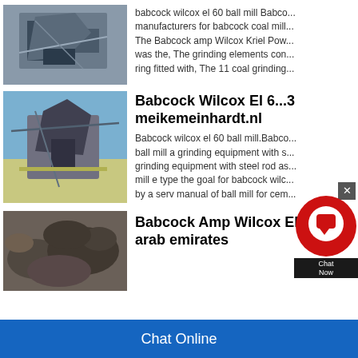[Figure (photo): Industrial mining/crushing machinery photo]
babcock wilcox el 60 ball mill Babco... manufacturers for babcock coal mill... The Babcock amp Wilcox Kriel Pow... was the, The grinding elements con... ring fitted with, The 11 coal grinding...
[Figure (photo): Industrial mining equipment against blue sky]
Babcock Wilcox El 6...3 meikemeinhardt.nl
Babcock wilcox el 60 ball mill.Babco... ball mill a grinding equipment with s... grinding equipment with steel rod as... mill e type the goal for babcock wilc... by a serv manual of ball mill for cem...
[Figure (photo): Rocky mineral/ore material photo]
Babcock Amp Wilcox El... arab emirates
[Figure (screenshot): Chat Now customer support widget overlay]
Chat Online